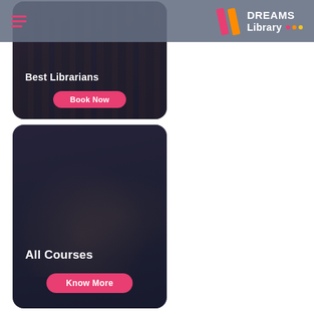DREAMS Library
[Figure (screenshot): Card showing library bookshelf background with text 'Best Librarians' and a pink 'Book Now' button]
[Figure (screenshot): Card showing hands near laptop background with text 'All Courses' and a pink 'Know More' button]